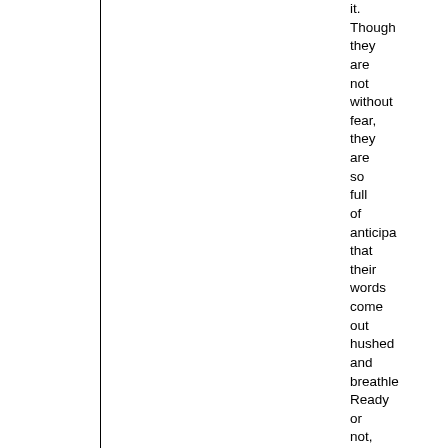it. Though they are not without fear, they are so full of anticipation that their words come out hushed and breathless. Ready or not, they are diving into life head first.